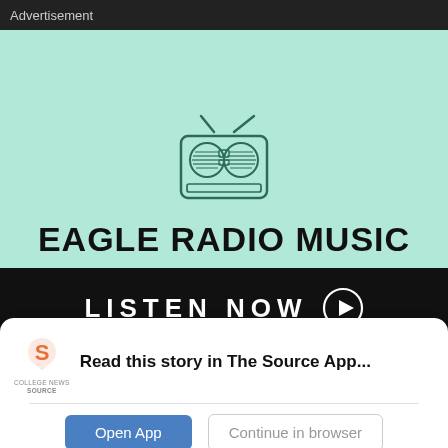Advertisement
[Figure (illustration): Eagle Radio Music advertisement banner with mint/light green background, featuring a retro radio illustration at the top, bold text 'EAGLE RADIO MUSIC', and a black bar at the bottom with 'LISTEN NOW' and a play button icon.]
Read this story in The Source App...
Open App
Continue in browser